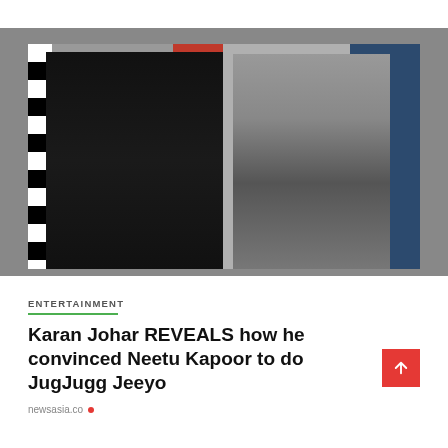[Figure (photo): Side-by-side photos: left shows Karan Johar in a black outfit standing in front of a red door with black and white striped wall; right shows Neetu Kapoor wearing sunglasses and a dark outfit, smiling near a blue car.]
ENTERTAINMENT
Karan Johar REVEALS how he convinced Neetu Kapoor to do JugJugg Jeeyo
newsasia.co